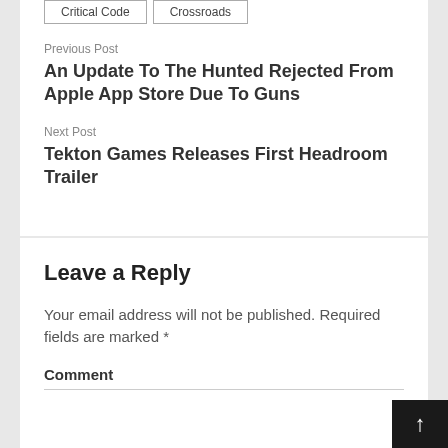Critical Code | Crossroads
Previous Post
An Update To The Hunted Rejected From Apple App Store Due To Guns
Next Post
Tekton Games Releases First Headroom Trailer
Leave a Reply
Your email address will not be published. Required fields are marked *
Comment